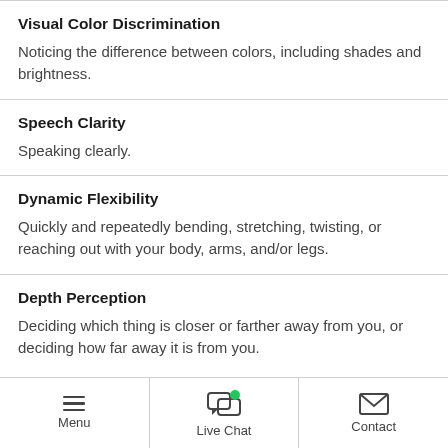Visual Color Discrimination
Noticing the difference between colors, including shades and brightness.
Speech Clarity
Speaking clearly.
Dynamic Flexibility
Quickly and repeatedly bending, stretching, twisting, or reaching out with your body, arms, and/or legs.
Depth Perception
Deciding which thing is closer or farther away from you, or deciding how far away it is from you.
Menu | Live Chat | Contact